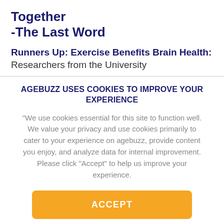Together
-The Last Word
Runners Up: Exercise Benefits Brain Health: Researchers from the University
AGEBUZZ USES COOKIES TO IMPROVE YOUR EXPERIENCE
"We use cookies essential for this site to function well. We value your privacy and use cookies primarily to cater to your experience on agebuzz, provide content you enjoy, and analyze data for internal improvement. Please click "Accept" to help us improve your experience.
ACCEPT
Do not use cookies